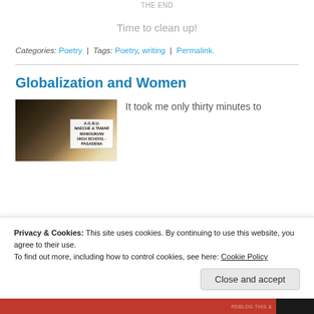Time to clean up!
Categories: Poetry | Tags: Poetry, writing | Permalink.
Globalization and Women
[Figure (photo): Photo of a room with a banner reading A.G.B.U. NAECHE & TAMAR MANOUKIAN HIGH SCHOOL PASADENA]
It took me only thirty minutes to
Privacy & Cookies: This site uses cookies. By continuing to use this website, you agree to their use.
To find out more, including how to control cookies, see here: Cookie Policy
Close and accept